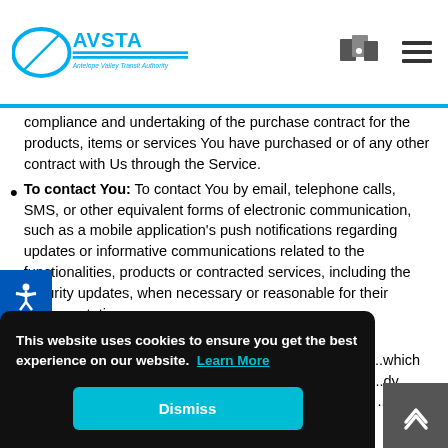Antelope Valley Transit Authority - AVSTA logo with navigation icons
compliance and undertaking of the purchase contract for the products, items or services You have purchased or of any other contract with Us through the Service.
To contact You: To contact You by email, telephone calls, SMS, or other equivalent forms of electronic communication, such as a mobile application's push notifications regarding updates or informative communications related to the functionalities, products or contracted services, including the security updates, when necessary or reasonable for their implementation.
...which ...dy ...not to ...ur requests to Us.
This website uses cookies to ensure you get the best experience on our website. Learn More
Dismiss